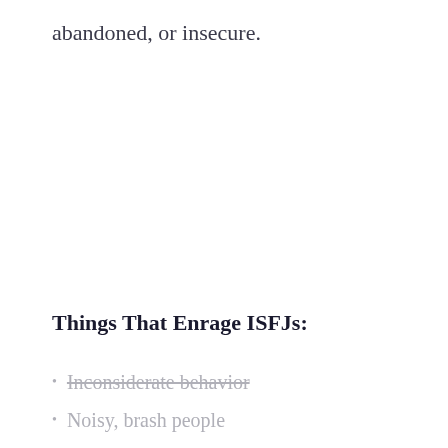abandoned, or insecure.
Things That Enrage ISFJs:
Inconsiderate behavior
Noisy, brash people